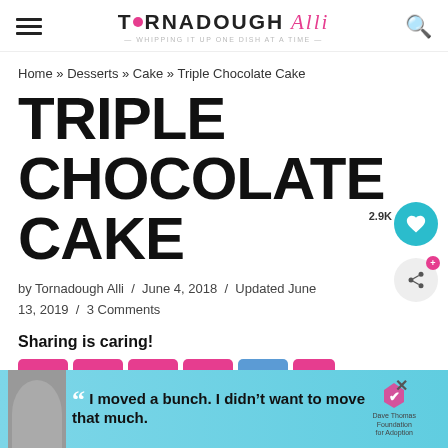TORNADOUGH Alli — Whipping it up one dish at a time
Home » Desserts » Cake » Triple Chocolate Cake
TRIPLE CHOCOLATE CAKE
by Tornadough Alli / June 4, 2018 / Updated June 13, 2019 / 3 Comments
Sharing is caring!
[Figure (screenshot): Ad banner: 'I moved a bunch. I didn't want to move much.' Dave Thomas Foundation for Adoption]
[Figure (other): WHAT'S NEXT arrow: Death By Chocolate... with thumbnail image]